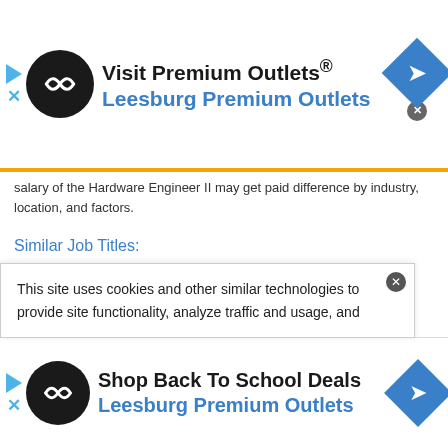[Figure (other): Top advertisement banner: Visit Premium Outlets® / Leesburg Premium Outlets with logo and navigation arrow icon]
salary of the Hardware Engineer II may get paid difference by industry, location, and factors.
Similar Job Titles:
Entry Hardware Engineer
Hardware Design Engineer I
Hardware Design Engineer II
Hardware Design Engineer III
This site uses cookies and other similar technologies to provide site functionality, analyze traffic and usage, and
[Figure (other): Bottom advertisement banner: Shop Back To School Deals / Leesburg Premium Outlets with logo and navigation arrow icon]